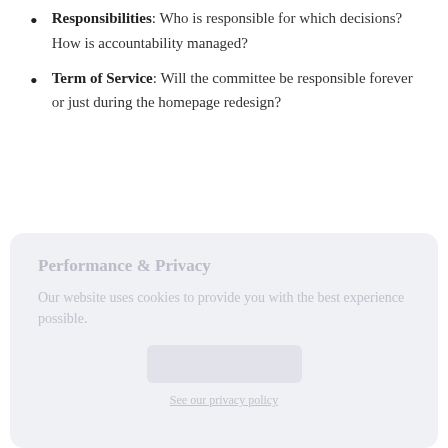Responsibilities: Who is responsible for which decisions? How is accountability managed?
Term of Service: Will the committee be responsible forever or just during the homepage redesign?
[Figure (screenshot): Cookie consent modal overlay with title 'Performance & Privacy', body text 'Our website uses cookies to provide you with the best experience possible.', a button placeholder, and a 'See our privacy policy' link.]